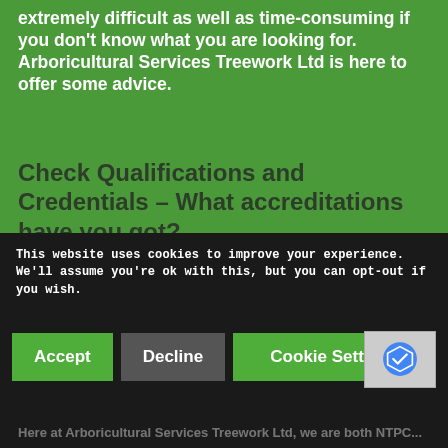extremely difficult as well as time-consuming if you don't know what you are looking for. Arboricultural Services Treework Ltd is here to offer some advice.
Check Qualifications and Credentials – What accreditations have you got?
Just like any other service or industry, tree surgeons have to have accredited and approved qualifications in place before carrying out any insured work on your premises.
Here at Arboricultural Services Treework Ltd, we are both NTPC...
This website uses cookies to improve your experience. We'll assume you're ok with this, but you can opt-out if you wish.